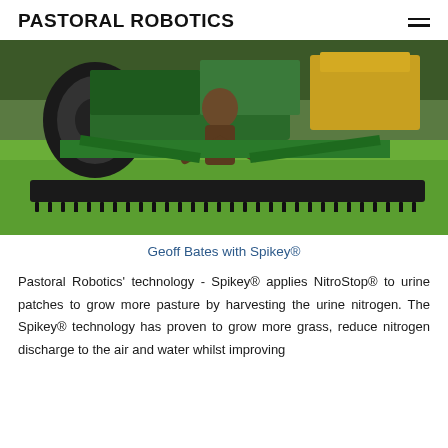PASTORAL ROBOTICS
[Figure (photo): Geoff Bates standing behind a large green Spikey® agricultural machine attached to a tractor on a green grass field. The machine has a wide roller with spikes along the bottom and a yellow hopper on the tractor.]
Geoff Bates with Spikey®
Pastoral Robotics' technology - Spikey® applies NitroStop® to urine patches to grow more pasture by harvesting the urine nitrogen. The Spikey® technology has proven to grow more grass, reduce nitrogen discharge to the air and water whilst improving